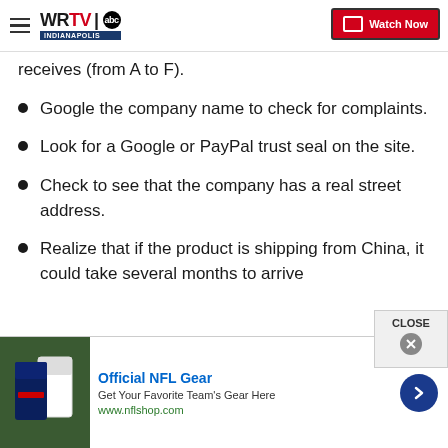WRTV INDIANAPOLIS | Watch Now
receives (from A to F).
Google the company name to check for complaints.
Look for a Google or PayPal trust seal on the site.
Check to see that the company has a real street address.
Realize that if the product is shipping from China, it could take several months to arrive
[Figure (screenshot): Advertisement banner for Official NFL Gear with NFL team jerseys image, text 'Official NFL Gear, Get Your Favorite Team's Gear Here, www.nflshop.com', and a blue arrow button. A CLOSE button with X appears overlapping the main content.]